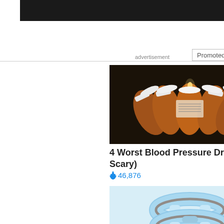[Figure (screenshot): Black navigation bar at top of page]
advertisement
Promoted ×
[Figure (photo): Multiple amber prescription pill bottles arranged in a fan pattern on a dark surface]
4 Worst Blood Pressure Drugs (#2 Is Scary)
🔥 46,876
[Figure (photo): Three light blue circular wearable devices (Eddie) stacked on a light background]
Treat ED With Eddie — The Proven, Comfortable Wearable That Comes With A Satisfaction Guarantee
🔥 160,753